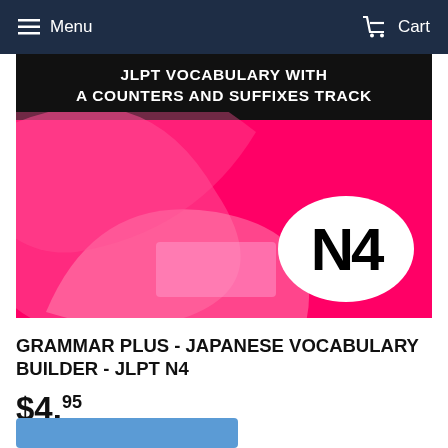Menu  Cart
[Figure (illustration): Product cover image for JLPT N4 vocabulary builder. Black banner at top reads 'JLPT VOCABULARY WITH A COUNTERS AND SUFFIXES TRACK'. Hot pink background with large decorative swoosh/wave shapes in lighter pink. White oval badge in lower right displaying bold 'N4'.]
GRAMMAR PLUS - JAPANESE VOCABULARY BUILDER - JLPT N4
$4.95